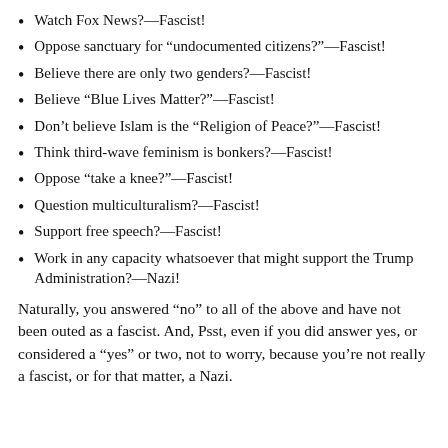Watch Fox News?—Fascist!
Oppose sanctuary for “undocumented citizens?”—Fascist!
Believe there are only two genders?—Fascist!
Believe “Blue Lives Matter?”—Fascist!
Don’t believe Islam is the “Religion of Peace?”—Fascist!
Think third-wave feminism is bonkers?—Fascist!
Oppose “take a knee?”—Fascist!
Question multiculturalism?—Fascist!
Support free speech?—Fascist!
Work in any capacity whatsoever that might support the Trump Administration?—Nazi!
Naturally, you answered “no” to all of the above and have not been outed as a fascist. And, Psst, even if you did answer yes, or considered a “yes” or two, not to worry, because you’re not really a fascist, or for that matter, a Nazi.